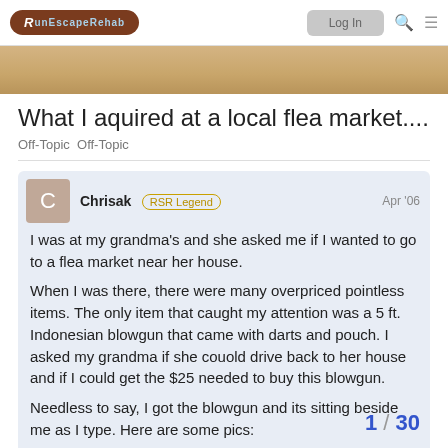RuneScapeRehab - Login
What I aquired at a local flea market....
Off-Topic  Off-Topic
Chrisak RSR Legend  Apr '06
I was at my grandma's and she asked me if I wanted to go to a flea market near her house.
When I was there, there were many overpriced pointless items. The only item that caught my attention was a 5 ft. Indonesian blowgun that came with darts and pouch. I asked my grandma if she couold drive back to her house and if I could get the $25 needed to buy this blowgun.

Needless to say, I got the blowgun and its sitting beside me as I type. Here are some pics:
1 / 30